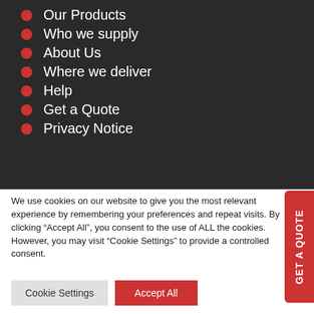Our Products
Who we supply
About Us
Where we deliver
Help
Get a Quote
Privacy Notice
We use cookies on our website to give you the most relevant experience by remembering your preferences and repeat visits. By clicking “Accept All”, you consent to the use of ALL the cookies. However, you may visit “Cookie Settings” to provide a controlled consent.